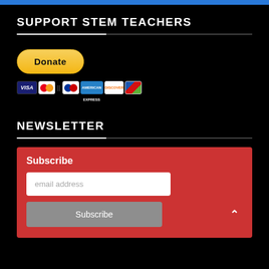SUPPORT STEM TEACHERS
[Figure (other): PayPal Donate button with payment card icons (Visa, Mastercard, JCB, American Express, Discover, Maestro)]
NEWSLETTER
Subscribe
email address
Subscribe